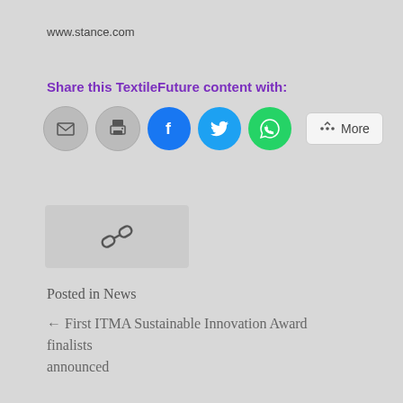www.stance.com
Share this TextileFuture content with:
[Figure (illustration): Social sharing icons: email (grey circle), print (grey circle), Facebook (blue circle with f), Twitter (blue circle with bird), WhatsApp (green circle with phone), and a More button with share icon]
[Figure (illustration): Link icon (chain links) in a grey rounded rectangle box]
Posted in News
← First ITMA Sustainable Innovation Award finalists announced